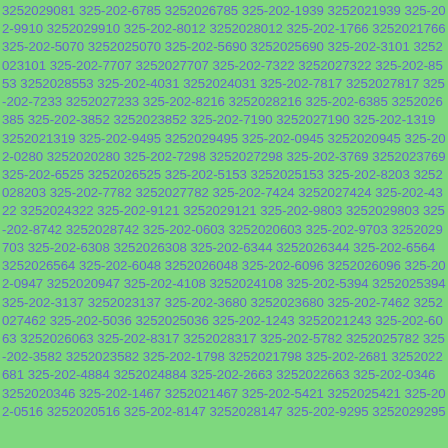3252029081 325-202-6785 3252026785 325-202-1939 3252021939 325-202-9910 3252029910 325-202-8012 3252028012 325-202-1766 3252021766 325-202-5070 3252025070 325-202-5690 3252025690 325-202-3101 3252023101 325-202-7707 3252027707 325-202-7322 3252027322 325-202-8553 3252028553 325-202-4031 3252024031 325-202-7817 3252027817 325-202-7233 3252027233 325-202-8216 3252028216 325-202-6385 3252026385 325-202-3852 3252023852 325-202-7190 3252027190 325-202-1319 3252021319 325-202-9495 3252029495 325-202-0945 3252020945 325-202-0280 3252020280 325-202-7298 3252027298 325-202-3769 3252023769 325-202-6525 3252026525 325-202-5153 3252025153 325-202-8203 3252028203 325-202-7782 3252027782 325-202-7424 3252027424 325-202-4322 3252024322 325-202-9121 3252029121 325-202-9803 3252029803 325-202-8742 3252028742 325-202-0603 3252020603 325-202-9703 3252029703 325-202-6308 3252026308 325-202-6344 3252026344 325-202-6564 3252026564 325-202-6048 3252026048 325-202-6096 3252026096 325-202-0947 3252020947 325-202-4108 3252024108 325-202-5394 3252025394 325-202-3137 3252023137 325-202-3680 3252023680 325-202-7462 3252027462 325-202-5036 3252025036 325-202-1243 3252021243 325-202-6063 3252026063 325-202-8317 3252028317 325-202-5782 3252025782 325-202-3582 3252023582 325-202-1798 3252021798 325-202-2681 3252022681 325-202-4884 3252024884 325-202-2663 3252022663 325-202-0346 3252020346 325-202-1467 3252021467 325-202-5421 3252025421 325-202-0516 3252020516 325-202-8147 3252028147 325-202-9295 3252029295